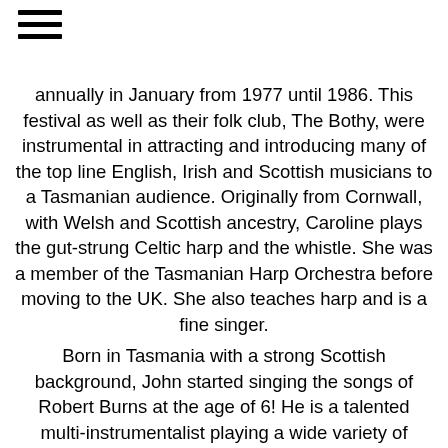[Figure (other): Hamburger menu icon — three horizontal black lines]
annually in January from 1977 until 1986. This festival as well as their folk club, The Bothy, were instrumental in attracting and introducing many of the top line English, Irish and Scottish musicians to a Tasmanian audience. Originally from Cornwall, with Welsh and Scottish ancestry, Caroline plays the gut-strung Celtic harp and the whistle. She was a member of the Tasmanian Harp Orchestra before moving to the UK. She also teaches harp and is a fine singer.
Born in Tasmania with a strong Scottish background, John started singing the songs of Robert Burns at the age of 6! He is a talented multi-instrumentalist playing a wide variety of instruments as well as being a fine singer . John is also a musical instrument maker and repairer and most of the instruments (apart from bagpipes) that he and Caroline play were made by him.
John plays Scottish smallpipes, Scottish lowland pipes,